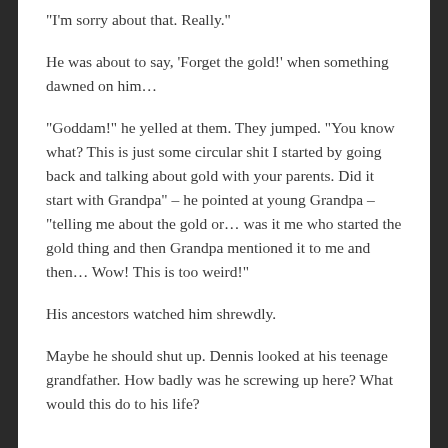“I’m sorry about that. Really.”
He was about to say, ‘Forget the gold!’ when something dawned on him…
“Goddam!” he yelled at them. They jumped. “You know what? This is just some circular shit I started by going back and talking about gold with your parents. Did it start with Grandpa” – he pointed at young Grandpa – “telling me about the gold or… was it me who started the gold thing and then Grandpa mentioned it to me and then… Wow! This is too weird!”
His ancestors watched him shrewdly.
Maybe he should shut up. Dennis looked at his teenage grandfather. How badly was he screwing up here? What would this do to his life?